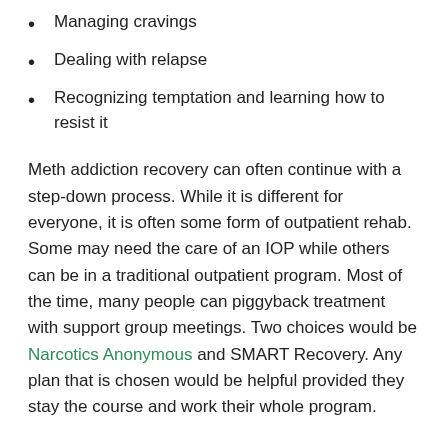Managing cravings
Dealing with relapse
Recognizing temptation and learning how to resist it
Meth addiction recovery can often continue with a step-down process. While it is different for everyone, it is often some form of outpatient rehab. Some may need the care of an IOP while others can be in a traditional outpatient program. Most of the time, many people can piggyback treatment with support group meetings. Two choices would be Narcotics Anonymous and SMART Recovery. Any plan that is chosen would be helpful provided they stay the course and work their whole program.